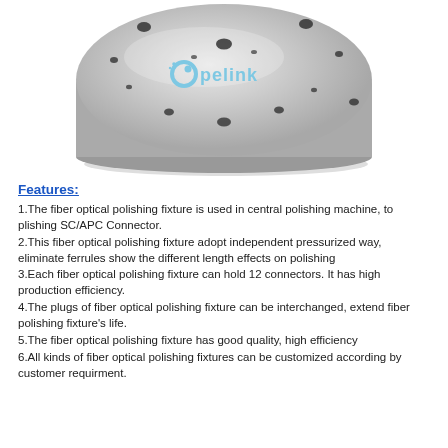[Figure (photo): Top view of a circular metal fiber optical polishing fixture with multiple holes, branded with Opelink logo in light blue]
Features:
1.The fiber optical polishing fixture is used in central polishing machine, to plishing SC/APC Connector.
2.This fiber optical polishing fixture adopt independent pressurized way, eliminate ferrules show the different length effects on polishing
3.Each fiber optical polishing fixture can hold 12 connectors. It has high production efficiency.
4.The plugs of fiber optical polishing fixture can be interchanged, extend fiber polishing fixture's life.
5.The fiber optical polishing fixture has good quality, high efficiency
6.All kinds of fiber optical polishing fixtures can be customized according by customer requirment.